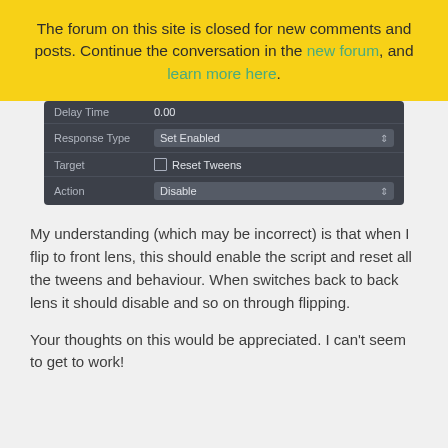The forum on this site is closed for new comments and posts. Continue the conversation in the new forum, and learn more here.
[Figure (screenshot): Dark UI panel showing fields: Delay Time (0.00), Response Type (Set Enabled dropdown), Target (Reset Tweens with icon), Action (Disable dropdown)]
My understanding (which may be incorrect) is that when I flip to front lens, this should enable the script and reset all the tweens and behaviour. When switches back to back lens it should disable and so on through flipping.
Your thoughts on this would be appreciated. I can't seem to get to work!